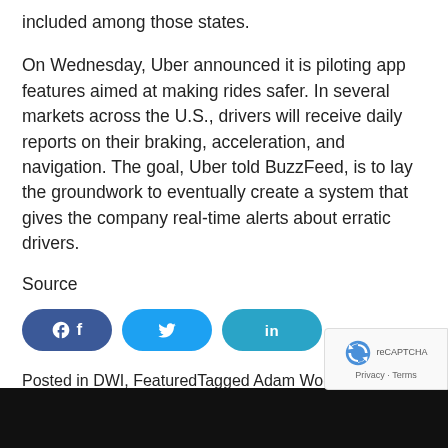included among those states.
On Wednesday, Uber announced it is piloting app features aimed at making rides safer. In several markets across the U.S., drivers will receive daily reports on their braking, acceleration, and navigation. The goal, Uber told BuzzFeed, is to lay the groundwork to eventually create a system that gives the company real-time alerts about erratic drivers.
Source
[Figure (other): Social share buttons for Facebook, Twitter, and LinkedIn]
Posted in DWI, FeaturedTagged Adam Woody, Blog, Buzzfeed, criminal charges, DWI, Uber
[Figure (other): Black footer bar with additional content below]